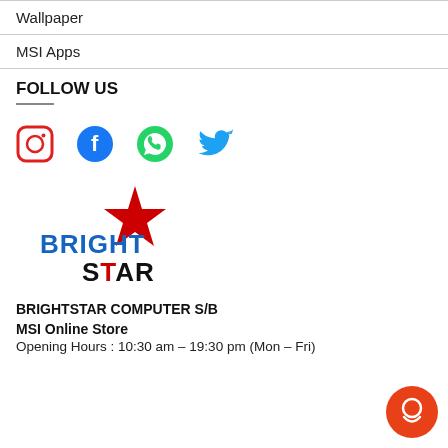Wallpaper
MSI Apps
FOLLOW US
[Figure (illustration): Social media icons: Instagram (red circle outline), Facebook (blue circle with f), WhatsApp (green circle with phone), Twitter (blue bird icon)]
[Figure (logo): Brightstar Computer logo with red star and blue/black text]
BRIGHTSTAR COMPUTER S/B
MSI Online Store
Opening Hours : 10:30 am – 19:30 pm (Mon – Fri)